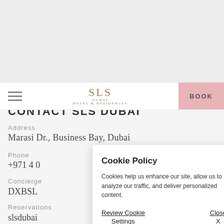[Figure (screenshot): SLS Dubai Hotel & Residences website screenshot showing contact page with navigation bar including hamburger menu, SLS logo, and pink BOOK button]
CONTACT SLS DUBAI
Address
Marasi Dr., Business Bay, Dubai
Phone
+971 4 0
Concierge
DXBSL
Reservations
slsdubai
Cookie Policy

Cookies help us enhance our site, allow us to analyze our traffic, and deliver personalized content.

Review Cookie Settings    Close X